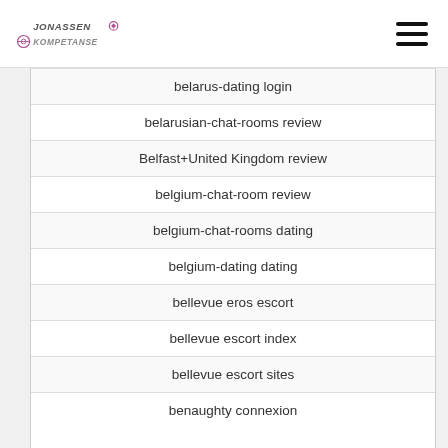[Figure (logo): Jonassen Kompetanse logo with pink/purple circular icon and stylized text]
belarus-dating login
belarusian-chat-rooms review
Belfast+United Kingdom review
belgium-chat-room review
belgium-chat-rooms dating
belgium-dating dating
bellevue eros escort
bellevue escort index
bellevue escort sites
benaughty connexion